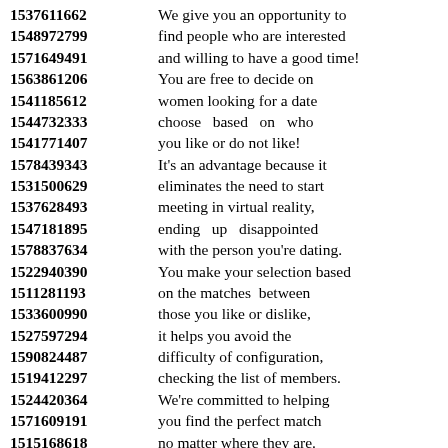1537611662 We give you an opportunity to
1548972799 find people who are interested
1571649491 and willing to have a good time!
1563861206 You are free to decide on
1541185612 women looking for a date
1544732333 choose based on who
1541771407 you like or do not like!
1578439343 It's an advantage because it
1531500629 eliminates the need to start
1537628493 meeting in virtual reality,
1547181895 ending up disappointed
1578837634 with the person you're dating.
1522940390 You make your selection based
1511281193 on the matches between
1533600990 those you like or dislike,
1527597294 it helps you avoid the
1590824487 difficulty of configuration,
1519412297 checking the list of members.
1524420364 We're committed to helping
1571609191 you find the perfect match
1515168618 no matter where they are.
1521888266
1577412804 From the list of profiles
1574386887 available you can be sure
1550771179 to find plenty of women